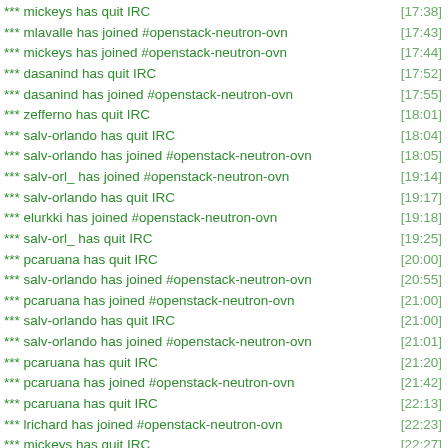*** mickeys has quit IRC [17:38]
*** mlavalle has joined #openstack-neutron-ovn [17:43]
*** mickeys has joined #openstack-neutron-ovn [17:44]
*** dasanind has quit IRC [17:52]
*** dasanind has joined #openstack-neutron-ovn [17:55]
*** zefferno has quit IRC [18:01]
*** salv-orlando has quit IRC [18:04]
*** salv-orlando has joined #openstack-neutron-ovn [18:05]
*** salv-orl_ has joined #openstack-neutron-ovn [19:14]
*** salv-orlando has quit IRC [19:17]
*** elurkki has joined #openstack-neutron-ovn [19:18]
*** salv-orl_ has quit IRC [19:25]
*** pcaruana has quit IRC [20:00]
*** salv-orlando has joined #openstack-neutron-ovn [20:55]
*** pcaruana has joined #openstack-neutron-ovn [21:00]
*** salv-orlando has quit IRC [21:00]
*** salv-orlando has joined #openstack-neutron-ovn [21:01]
*** pcaruana has quit IRC [21:20]
*** pcaruana has joined #openstack-neutron-ovn [21:42]
*** pcaruana has quit IRC [22:13]
*** lrichard has joined #openstack-neutron-ovn [22:23]
*** mickeys has quit IRC [22:27]
*** mickeys has joined #openstack-neutron-ovn [22:42]